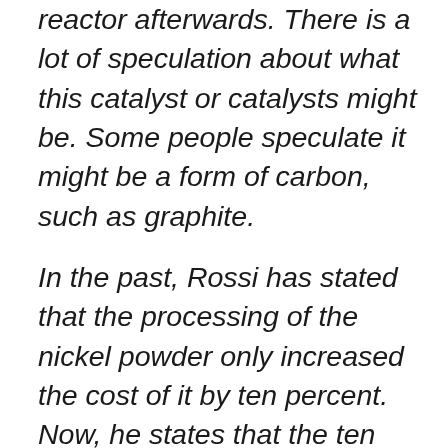reactor afterwards. There is a lot of speculation about what this catalyst or catalysts might be. Some people speculate it might be a form of carbon, such as graphite.
In the past, Rossi has stated that the processing of the nickel powder only increased the cost of it by ten percent. Now, he states that the ten percent figure includes the cost of the catalyst. This confirms that the catalyst is super cheap.